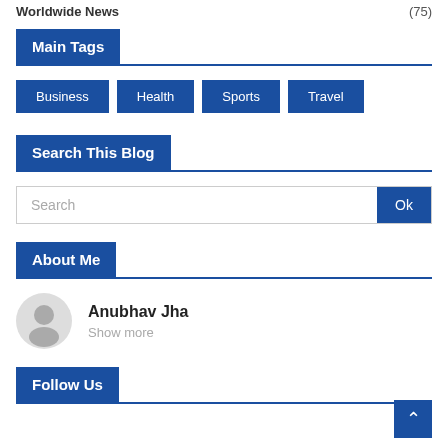Worldwide News (75)
Main Tags
Business
Health
Sports
Travel
Search This Blog
Search Ok
About Me
Anubhav Jha
Show more
Follow Us